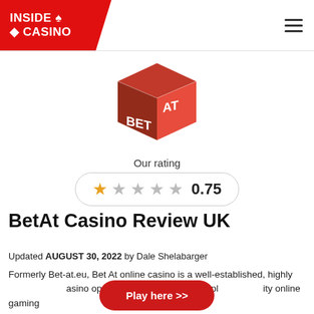INSIDE ♠ ◆ CASINO
[Figure (logo): BetAt Casino 3D cube logo in red and brown/maroon with white text 'BET AT' on the faces]
Our rating
★ ☆ ☆ ☆ ☆  0.75
BetAt Casino Review UK
Updated AUGUST 30, 2022 by Dale Shelabarger
Formerly Bet-at.eu, Bet At online casino is a well-established, highly [Play here >>] casino operation steadily setting its pl[ace as a] quality online gaming destination. Run in Malta, and part of a larger...